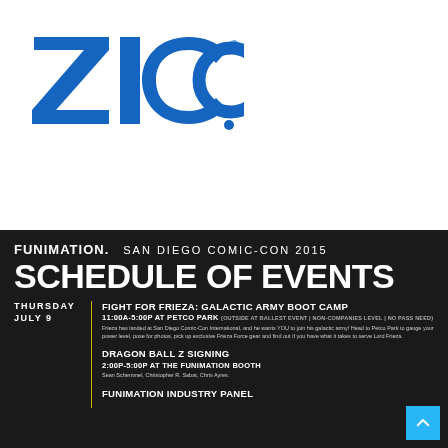[Figure (logo): ZICO brand logo in bold blue letters with registered trademark symbol]
FUNIMATION. SAN DIEGO COMIC-CON 2015
SCHEDULE OF EVENTS
THURSDAY JULY 9
FIGHT FOR FRIEZA: GALACTIC ARMY BOOT CAMP
11:00A-5:00P AT PETCO PARK (OUTSIDE AT BALLAST EVENT | NON-COMPANIES LEVEL | NO PASS NEED)
Frieza has landed at San Diego Comic-Con International, and he wants YOU to join his galactic army! Head to Petco Park to gauge your power level, pose for photos, pick up exclusive Frieza Force gear and find out if you have what it takes to serve Lord Frieza.
DRAGON BALL Z SIGNING
2:00P-5:00P AT THE FUNIMATION BOOTH
Sean Schemmel, Christopher R. Sabat, Chris Ayres.
FUNIMATION INDUSTRY PANEL